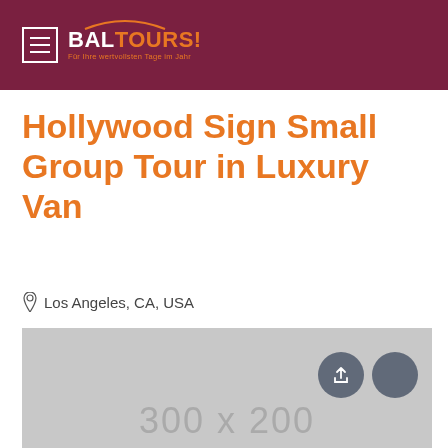BALTOURS - Für Ihre wertvollsten Tage im Jahr
Hollywood Sign Small Group Tour in Luxury Van
Los Angeles, CA, USA
[Figure (photo): Tour image placeholder showing 300 x 200 dimensions with share and favorite buttons overlaid]